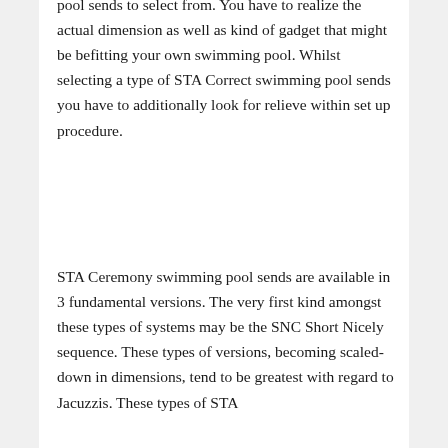pool sends to select from. You have to realize the actual dimension as well as kind of gadget that might be befitting your own swimming pool. Whilst selecting a type of STA Correct swimming pool sends you have to additionally look for relieve within set up procedure.
STA Ceremony swimming pool sends are available in 3 fundamental versions. The very first kind amongst these types of systems may be the SNC Short Nicely sequence. These types of versions, becoming scaled-down in dimensions, tend to be greatest with regard to Jacuzzis. These types of STA